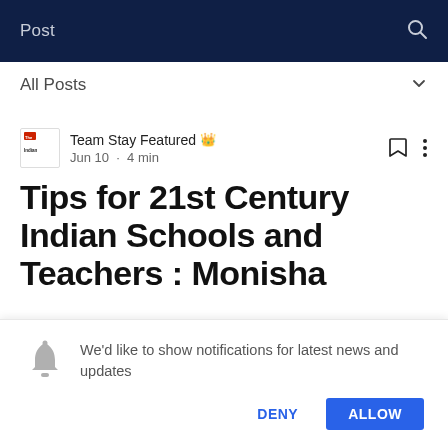Post
All Posts
Team Stay Featured  Jun 10 · 4 min
Tips for 21st Century Indian Schools and Teachers : Monisha
We'd like to show notifications for latest news and updates